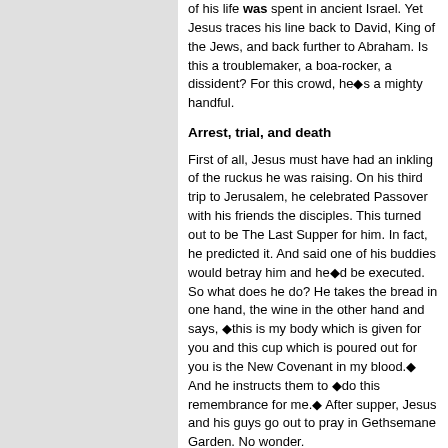of his life was spent in ancient Israel. Yet Jesus traces his line back to David, King of the Jews, and back further to Abraham. Is this a troublemaker, a boa-rocker, a dissident? For this crowd, he■s a mighty handful.
Arrest, trial, and death
First of all, Jesus must have had an inkling of the ruckus he was raising. On his third trip to Jerusalem, he celebrated Passover with his friends the disciples. This turned out to be The Last Supper for him. In fact, he predicted it. And said one of his buddies would betray him and he■d be executed. So what does he do? He takes the bread in one hand, the wine in the other hand and says, ■this is my body which is given for you and this cup which is poured out for you is the New Covenant in my blood.■ And he instructs them to ■do this remembrance for me.■ After supper, Jesus and his guys go out to pray in Gethsemane Garden. No wonder.
Right there Roman soldiers show up and arrest him on orders of the Sanhedrin. You know, the money changer thing, the speeches, the crowds, the philosophizing, the ■son of God■ thing, bringing people back from the dead, it all added up. And it turns out the apostle Judas Iscariot fingered